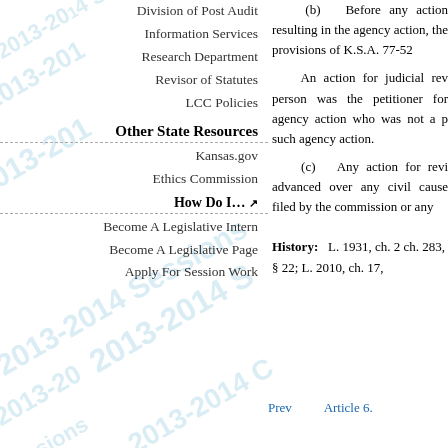Division of Post Audit
Information Services
Research Department
Revisor of Statutes
LCC Policies
Other State Resources
Kansas.gov
Ethics Commission
How Do I… ↗
Become A Legislative Intern
Become A Legislative Page
Apply For Session Work
(b)   Before any action resulting in the agency action, the provisions of K.S.A. 77-52
An action for judicial rev person was the petitioner for agency action who was not a p such agency action.
(c)   Any action for revi advanced over any civil cause filed by the commission or any
History:   L. 1931, ch. 2 ch. 283, § 22; L. 2010, ch. 17,
Prev    Article 6.